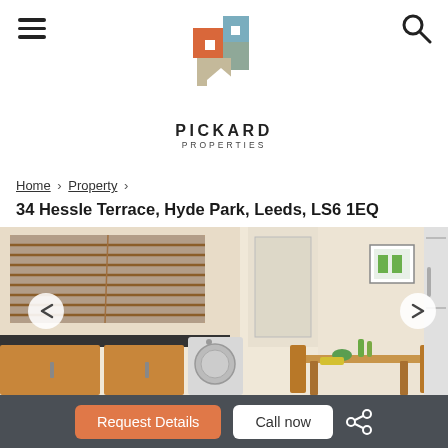Pickard Properties – header with hamburger menu and search icon
[Figure (logo): Pickard Properties logo: geometric interlocking house shapes in orange, teal, and tan/grey, with text PICKARD PROPERTIES below]
Home › Property ›
34 Hessle Terrace, Hyde Park, Leeds, LS6 1EQ
[Figure (photo): Interior kitchen/dining room photo of a student house showing wooden Venetian blinds over a large window, dark countertop, wooden lower cabinets, washing machine, and a wooden dining table with chairs. A framed picture hangs on the cream wall. A fridge is partially visible on the right.]
Request Details   Call now   Share